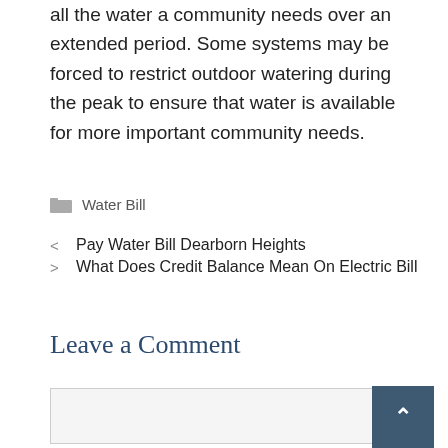all the water a community needs over an extended period. Some systems may be forced to restrict outdoor watering during the peak to ensure that water is available for more important community needs.
Water Bill
< Pay Water Bill Dearborn Heights
> What Does Credit Balance Mean On Electric Bill
Leave a Comment